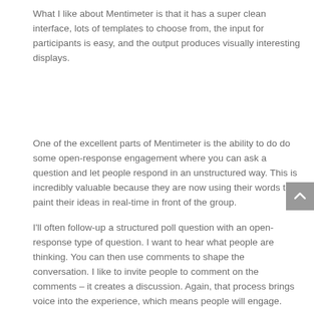What I like about Mentimeter is that it has a super clean interface, lots of templates to choose from, the input for participants is easy, and the output produces visually interesting displays.
One of the excellent parts of Mentimeter is the ability to do do some open-response engagement where you can ask a question and let people respond in an unstructured way. This is incredibly valuable because they are now using their words to paint their ideas in real-time in front of the group.
I'll often follow-up a structured poll question with an open-response type of question. I want to hear what people are thinking. You can then use comments to shape the conversation. I like to invite people to comment on the comments – it creates a discussion. Again, that process brings voice into the experience, which means people will engage.